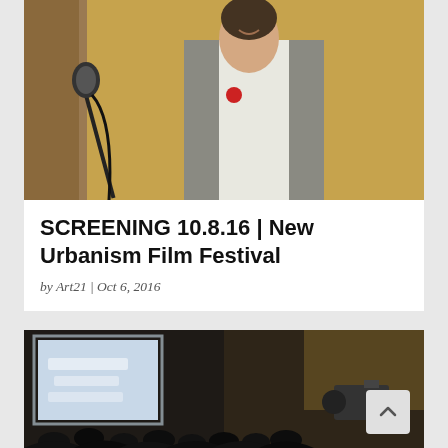[Figure (photo): Person speaking at a microphone in an ornate room with yellow walls]
SCREENING 10.8.16 | New Urbanism Film Festival
by Art21 | Oct 6, 2016
[Figure (photo): Film screening in a dark room with audience silhouettes and a lit projection screen]